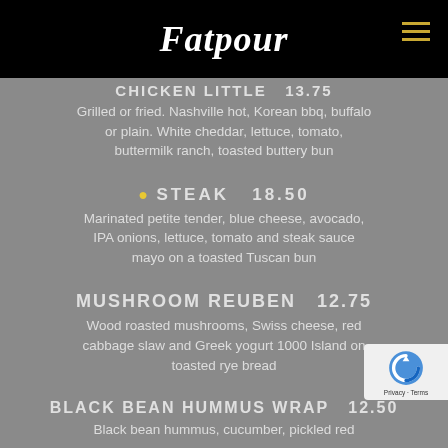Fatpour
CHICKEN LITTLE   13.75
Grilled or fried. Nashville hot, Korean bbq, buffalo or plain. White cheddar, lettuce, tomato, buttermilk ranch, toasted buttery bun
STEAK   18.50
Marinated petite tender, blue cheese, avocado, IPA onions, lettuce, tomato and steak sauce mayo on a toasted Tuscan bun
MUSHROOM REUBEN   12.75
Wood roasted mushrooms, Swiss cheese, red cabbage slaw and Greek yogurt 1000 Island on toasted rye bread
BLACK BEAN HUMMUS WRAP   12.50
Black bean hummus, cucumber, pickled red